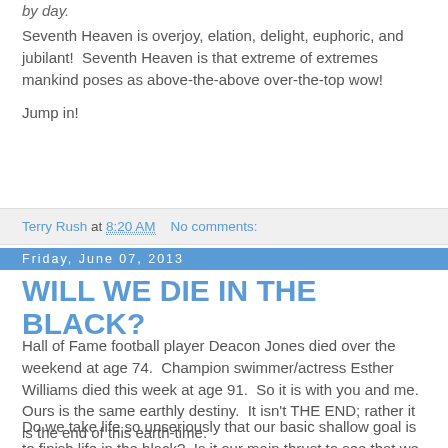by day.
Seventh Heaven is overjoy, elation, delight, euphoric, and jubilant!  Seventh Heaven is that extreme of extremes mankind poses as above-the-above over-the-top wow!
Jump in!
Terry Rush at 8:20 AM    No comments:
Friday, June 07, 2013
WILL WE DIE IN THE BLACK?
Hall of Fame football player Deacon Jones died over the weekend at age 74.  Champion swimmer/actress Esther Williams died this week at age 91.  So it is with you and me.  Ours is the same earthly destiny.  It isn't THE END; rather it is the end of this earth-time.
Do we take life so unseriously that our basic shallow goal is to finish life in the black?  Is it our main thrust to see that we